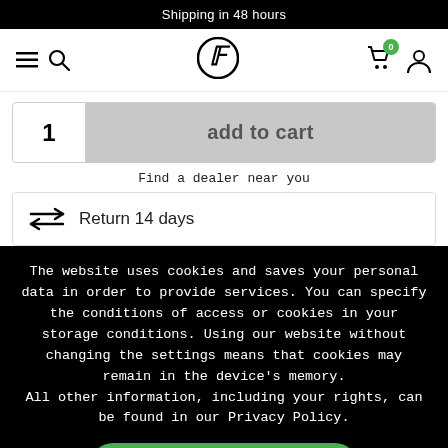Shipping in 48 hours
[Figure (screenshot): Navigation bar with hamburger menu, search icon, brand logo (stylized F in circle), cart icon with badge showing 0, and user account icon]
1
add to cart
Find a dealer near you
Return 14 days
The website uses cookies and saves your personal data in order to provide services. You can specify the conditions of access or cookies in your storage conditions. Using our website without changing the settings means that cookies may remain in the device's memory.
All other information, including your rights, can be found in our Privacy Policy.
I accept, close